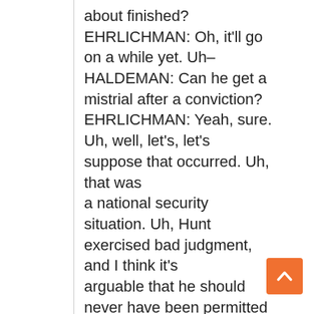about finished? EHRLICHMAN: Oh, it'll go on a while yet. Uh– HALDEMAN: Can he get a mistrial after a conviction? EHRLICHMAN: Yeah, sure. Uh, well, let's, let's suppose that occurred. Uh, that was a national security situation. Uh, Hunt exercised bad judgment, and I think it's arguable that he should never have been permitted to go to the Committee after that episode, having, having, uh, reflected on his